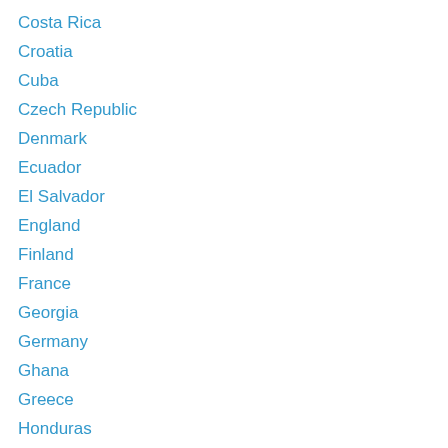Costa Rica
Croatia
Cuba
Czech Republic
Denmark
Ecuador
El Salvador
England
Finland
France
Georgia
Germany
Ghana
Greece
Honduras
Hungary
Iceland
India
Indonesia
Iran